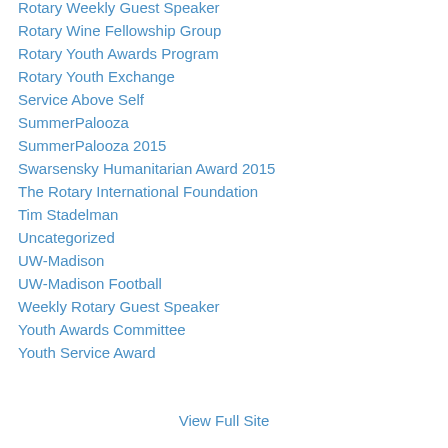Rotary Weekly Guest Speaker
Rotary Wine Fellowship Group
Rotary Youth Awards Program
Rotary Youth Exchange
Service Above Self
SummerPalooza
SummerPalooza 2015
Swarsensky Humanitarian Award 2015
The Rotary International Foundation
Tim Stadelman
Uncategorized
UW-Madison
UW-Madison Football
Weekly Rotary Guest Speaker
Youth Awards Committee
Youth Service Award
View Full Site